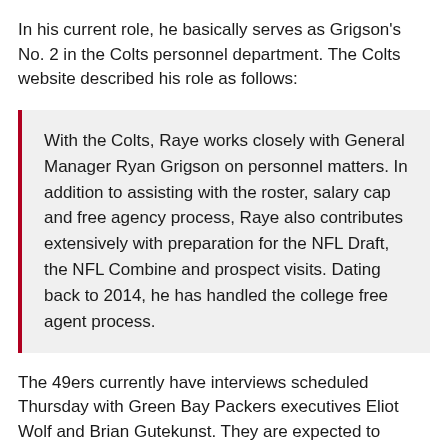In his current role, he basically serves as Grigson's No. 2 in the Colts personnel department. The Colts website described his role as follows:
With the Colts, Raye works closely with General Manager Ryan Grigson on personnel matters. In addition to assisting with the roster, salary cap and free agency process, Raye also contributes extensively with preparation for the NFL Draft, the NFL Combine and prospect visits. Dating back to 2014, he has handled the college free agent process.
The 49ers currently have interviews scheduled Thursday with Green Bay Packers executives Eliot Wolf and Brian Gutekunst. They are expected to interview New England Patriots executive Nick Caserio